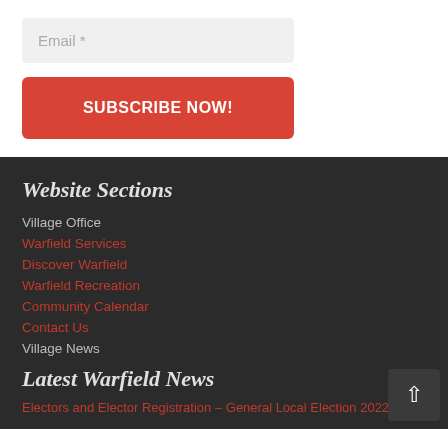Email *
SUBSCRIBE NOW!
Website Sections
Village Office
Warfield Services
Discover Warfield
Warfield Recreation
Community Calendar
Contact Us
Village News
Latest Warfield News
Electors and Elector Registration – General Local Election 2022